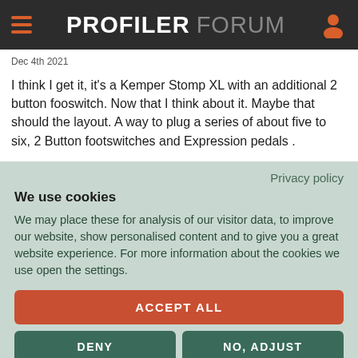PROFILER FORUM
Dec 4th 2021
I think I get it, it's a Kemper Stomp XL with an additional 2 button fooswitch. Now that I think about it. Maybe that should the layout. A way to plug a series of about five to six, 2 Button footswitches and Expression pedals .
Privacy policy
We use cookies
We may place these for analysis of our visitor data, to improve our website, show personalised content and to give you a great website experience. For more information about the cookies we use open the settings.
ACCEPT ALL
DENY
NO, ADJUST